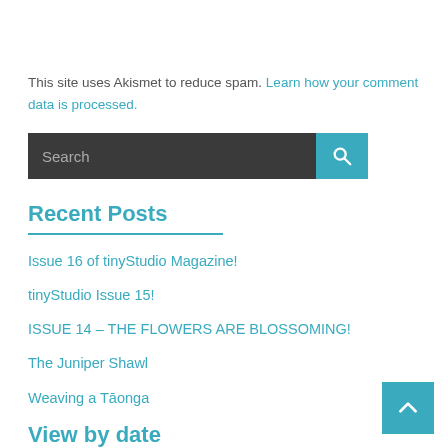This site uses Akismet to reduce spam. Learn how your comment data is processed.
Recent Posts
Issue 16 of tinyStudio Magazine!
tinyStudio Issue 15!
ISSUE 14 – THE FLOWERS ARE BLOSSOMING!
The Juniper Shawl
Weaving a Tāonga
View by date